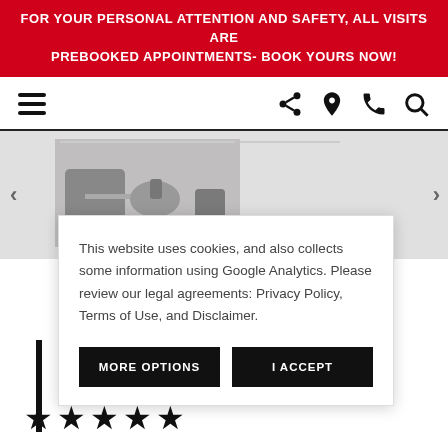FOR YOUR PERSONAL ATTENTION AND SAFETY, ALL VISITS ARE PREBOOKED APPOINTMENTS- BOOK YOURS NOW!
[Figure (screenshot): Navigation bar with hamburger menu on left and share, location, phone, search icons on right]
[Figure (photo): Carousel image showing interior furniture scene with chairs and table]
This website uses cookies, and also collects some information using Google Analytics. Please review our legal agreements: Privacy Policy, Terms of Use, and Disclaimer.
[Figure (infographic): Cookie consent dialog with MORE OPTIONS and I ACCEPT buttons]
[Figure (other): Five black star rating icons at bottom of page]